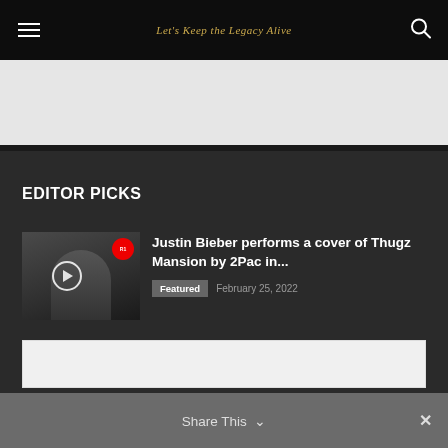Let's Keep the Legacy Alive
[Figure (screenshot): Ad banner placeholder, light gray background]
EDITOR PICKS
[Figure (photo): Thumbnail photo of Justin Bieber with play button overlay, dark background with BBC Radio 1 logo visible]
Justin Bieber performs a cover of Thugz Mansion by 2Pac in...
Featured   February 25, 2022
[Figure (screenshot): Bottom ad banner, light gray/white background]
Share This ∨  ✕